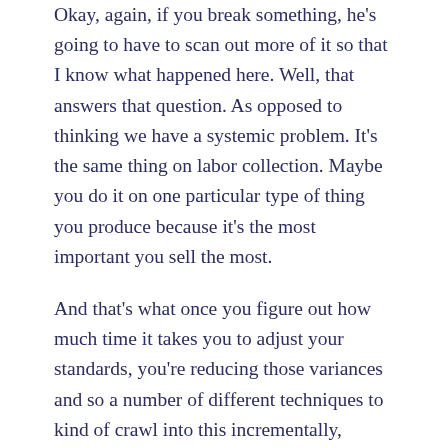Okay, again, if you break something, he's going to have to scan out more of it so that I know what happened here. Well, that answers that question. As opposed to thinking we have a systemic problem. It's the same thing on labor collection. Maybe you do it on one particular type of thing you produce because it's the most important you sell the most.
And that's what once you figure out how much time it takes you to adjust your standards, you're reducing those variances and so a number of different techniques to kind of crawl into this incrementally, depending on what you're trying to fix or find out what's going on. And sometimes people just can't tell they make money, but they don't know where they're losing money is the point. That's a blur.
In a #costing category, you typically are seeing three different